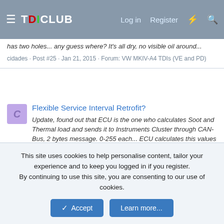TDICLUB — Log in  Register
has two holes... any guess where? It's all dry, no visible oil around...
cidades · Post #25 · Jan 21, 2015 · Forum: VW MKIV-A4 TDIs (VE and PD)
Flexible Service Interval Retrofit?
Update, found out that ECU is the one who calculates Soot and Thermal load and sends it to Instruments Cluster through CAN-Bus, 2 bytes message. 0-255 each... ECU calculates this values based on two caractheristic maps siwOEL_tKF and siwOEL_rKF, on my ECU those maps were mispopulated with 254...
cidades · Post #383 · Jan 20, 2015 · Forum: Upgrades (non TDI Engine related)
Flexible Service Interval Retrofit?
This site uses cookies to help personalise content, tailor your experience and to keep you logged in if you register.
By continuing to use this site, you are consenting to our use of cookies.